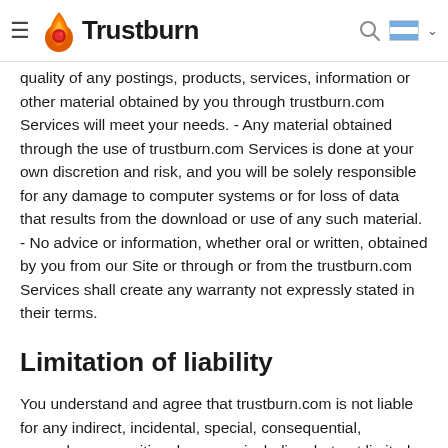Trustburn
quality of any postings, products, services, information or other material obtained by you through trustburn.com Services will meet your needs. - Any material obtained through the use of trustburn.com Services is done at your own discretion and risk, and you will be solely responsible for any damage to computer systems or for loss of data that results from the download or use of any such material. - No advice or information, whether oral or written, obtained by you from our Site or through or from the trustburn.com Services shall create any warranty not expressly stated in their terms.
Limitation of liability
You understand and agree that trustburn.com is not liable for any indirect, incidental, special, consequential, exemplary or punitive damages, including, but not limited to, any loss of use, loss of profits, loss of data, loss of goodwill, cost of procurement of substitute services, or any other indirect, incidental, special, consequential, exemplary or punitive